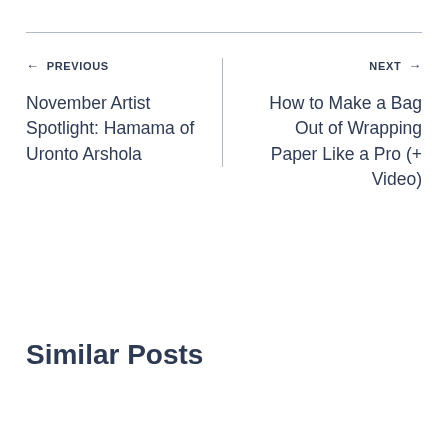← PREVIOUS
November Artist Spotlight: Hamama of Uronto Arshola
NEXT →
How to Make a Bag Out of Wrapping Paper Like a Pro (+ Video)
Similar Posts